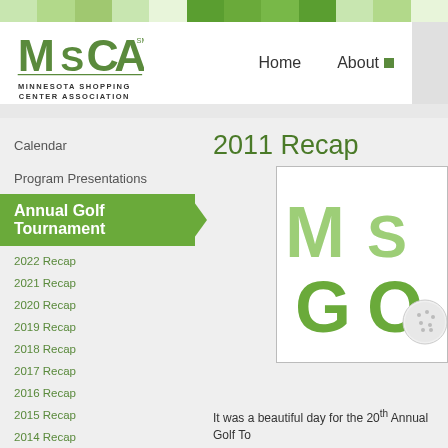[Figure (logo): MSCA Minnesota Shopping Center Association logo with decorative colored stripe at top and navigation bar with Home and About links]
2011 Recap
Calendar
Program Presentations
Annual Golf Tournament
2022 Recap
2021 Recap
2020 Recap
2019 Recap
2018 Recap
2017 Recap
2016 Recap
2015 Recap
2014 Recap
2013 Recap
[Figure (logo): MSCA Golf Tournament logo showing M, S letters and G, O letters with golf ball]
It was a beautiful day for the 20th Annual Golf To...